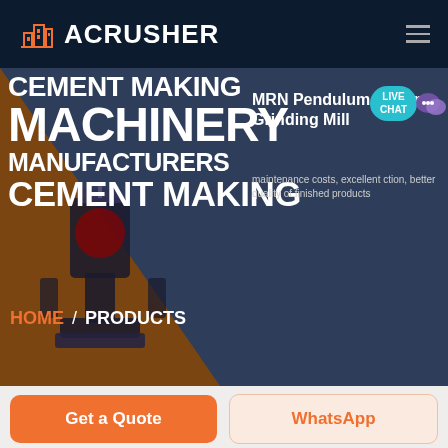ACRUSHER
CEMENT MAKING MACHINERY MANUFACTURERS CEMENT MAKING
MRN Pendulum Roller Grinding Mill
maintenance costs, excellent ction, better quality of finished products
LIVE CHAT
HOME / PRODUCTS
Get a Quote
WhatsApp